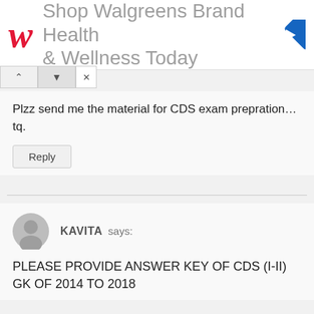[Figure (screenshot): Walgreens ad banner with red script W logo, text 'Shop Walgreens Brand Health & Wellness Today', and a blue navigation arrow icon]
Plzz send me the material for CDS exam prepration…tq.
Reply
KAVITA says:
PLEASE PROVIDE ANSWER KEY OF CDS (I-II) GK OF 2014 TO 2018